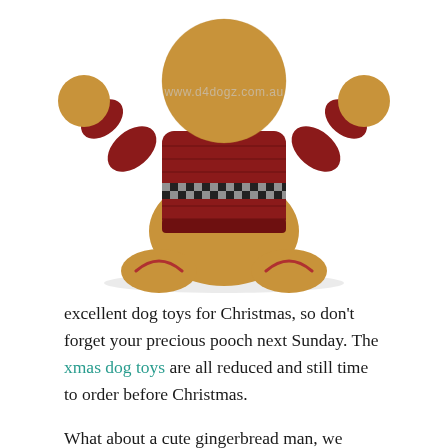[Figure (photo): A stuffed gingerbread man dog toy with a soft golden-brown fabric body, wearing a short red knitted sweater with a black and white gingham trim band. The toy has arms raised, red stitching details on the feet, and is photographed from behind on a white background. A watermark reads 'www.d4dogz.com.au'.]
excellent dog toys for Christmas, so don't forget your precious pooch next Sunday. The xmas dog toys are all reduced and still time to order before Christmas.
What about a cute gingerbread man, we recon he is a super cute dog toy and an ideal Xmas gift,  he is wearing a cheeky short red sweater, and has a soft golden brown fabric, he has a squeaker now your dog will love that and is approx 20cm, ideal for smaller